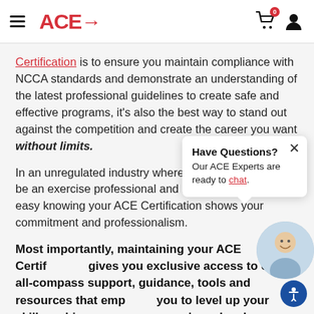ACE→ [hamburger menu, cart icon with badge 0, user icon]
Certification is to ensure you maintain compliance with NCCA standards and demonstrate an understanding of the latest professional guidelines to create safe and effective programs, it's also the best way to stand out against the competition and create the career you want without limits.
In an unregulated industry where anyone can claim to be an exercise professional and health coach, rest easy knowing your ACE Certification shows your commitment and professionalism.
Most importantly, maintaining your ACE Certification gives you exclusive access to our all-compass support, guidance, tools and resources that empower you to level up your skills, achieve your career goals and make a bigger impact.
[Figure (infographic): Chat popup widget with 'Have Questions? Our ACE Experts are ready to chat.' and a close button (×). Also a person photo (man smiling) and an accessibility button (blue circle with person icon) in bottom right.]